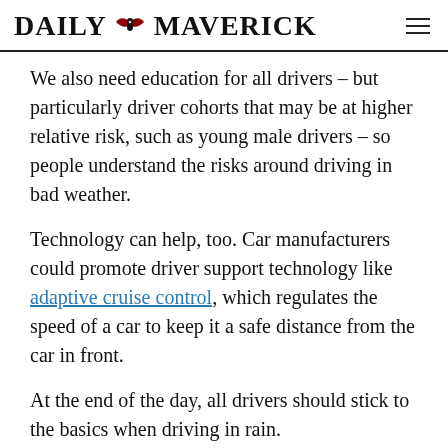DAILY MAVERICK
We also need education for all drivers – but particularly driver cohorts that may be at higher relative risk, such as young male drivers – so people understand the risks around driving in bad weather.
Technology can help, too. Car manufacturers could promote driver support technology like adaptive cruise control, which regulates the speed of a car to keep it a safe distance from the car in front.
At the end of the day, all drivers should stick to the basics when driving in rain.
[Figure (other): Advertisement banner for Sage HR software with text 'Advanced all-in-one HR, payroll & Self-Service software' and the Sage logo in green on a black background.]